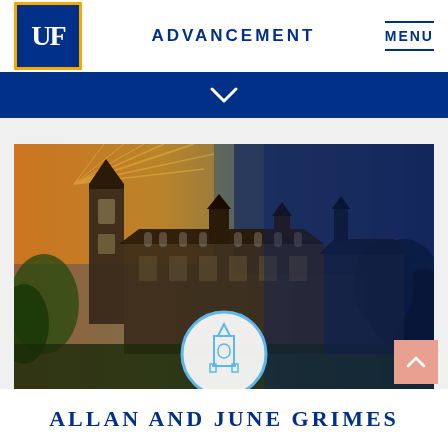UF ADVANCEMENT MENU
[Figure (photo): University of Florida campus buildings with Century Tower on the left, shown with orange/gold color overlay on the left side fading to blue on the right side. A circular UF tower icon is overlaid at the bottom center.]
ALLAN AND JUNE GRIMES